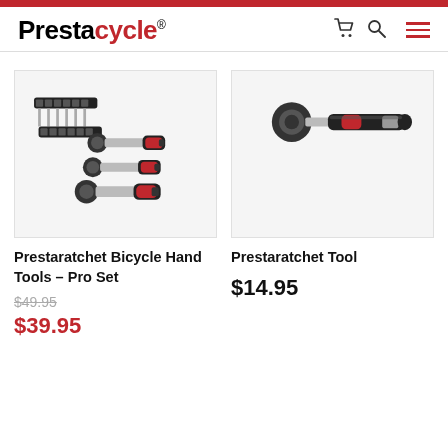Prestacycle
[Figure (photo): Prestaratchet Bicycle Hand Tools Pro Set - multiple ratchet screwdrivers with bit sets, black and red handles]
Prestaratchet Bicycle Hand Tools – Pro Set
$49.95 (strikethrough) $39.95
[Figure (photo): Prestaratchet Tool - single ratchet wrench with black and red handle]
Prestaratchet Tool
$14.95